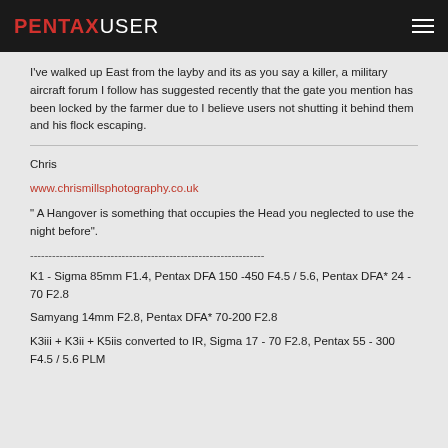PENTAXUSER
I've walked up East from the layby and its as you say a killer, a military aircraft forum I follow has suggested recently that the gate you mention has been locked by the farmer due to I believe users not shutting it behind them and his flock escaping.
Chris
www.chrismillsphotography.co.uk
" A Hangover is something that occupies the Head you neglected to use the night before".
----------------------------------------------------------------
K1 - Sigma 85mm F1.4, Pentax DFA 150 -450 F4.5 / 5.6, Pentax DFA* 24 - 70 F2.8
Samyang 14mm F2.8, Pentax DFA* 70-200 F2.8
K3iii + K3ii + K5iis converted to IR, Sigma 17 - 70 F2.8, Pentax 55 - 300 F4.5 / 5.6 PLM